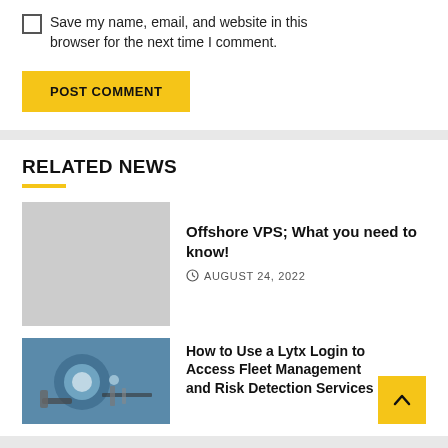Save my name, email, and website in this browser for the next time I comment.
POST COMMENT
RELATED NEWS
[Figure (photo): Gray placeholder image for article thumbnail]
Offshore VPS; What you need to know!
AUGUST 24, 2022
[Figure (photo): Photo of mechanical/fleet equipment, blue tones]
How to Use a Lytx Login to Access Fleet Management and Risk Detection Services